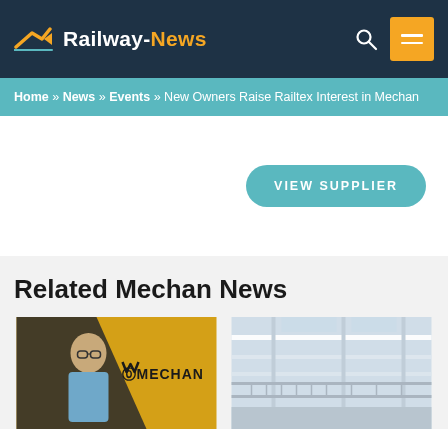Railway-News
Home » News » Events » New Owners Raise Railtex Interest in Mechan
[Figure (other): VIEW SUPPLIER button / advertisement banner area]
Related Mechan News
[Figure (photo): Photo of a man wearing glasses standing in front of a yellow Mechan branded banner/display]
[Figure (photo): Photo of an industrial interior space with white structural beams and walkways]